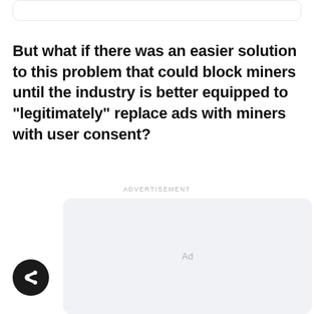But what if there was an easier solution to this problem that could block miners until the industry is better equipped to "legitimately" replace ads with miners with user consent?
ADVERTISEMENT
[Figure (other): Grey advertisement placeholder box with 'Ad' label in center]
[Figure (other): Round dark share/export button icon]